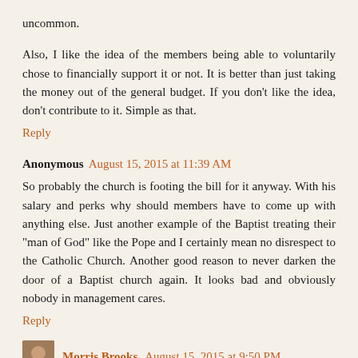uncommon.
Also, I like the idea of the members being able to voluntarily chose to financially support it or not. It is better than just taking the money out of the general budget. If you don't like the idea, don't contribute to it. Simple as that.
Reply
Anonymous  August 15, 2015 at 11:39 AM
So probably the church is footing the bill for it anyway. With his salary and perks why should members have to come up with anything else. Just another example of the Baptist treating their "man of God" like the Pope and I certainly mean no disrespect to the Catholic Church. Another good reason to never darken the door of a Baptist church again. It looks bad and obviously nobody in management cares.
Reply
Morris Brooks  August 15, 2015 at 9:50 PM